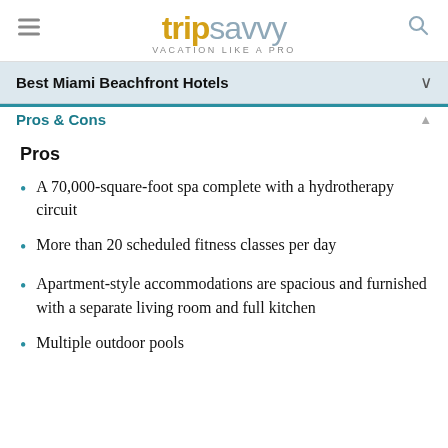trip savvy VACATION LIKE A PRO
Best Miami Beachfront Hotels
Pros & Cons
Pros
A 70,000-square-foot spa complete with a hydrotherapy circuit
More than 20 scheduled fitness classes per day
Apartment-style accommodations are spacious and furnished with a separate living room and full kitchen
Multiple outdoor pools